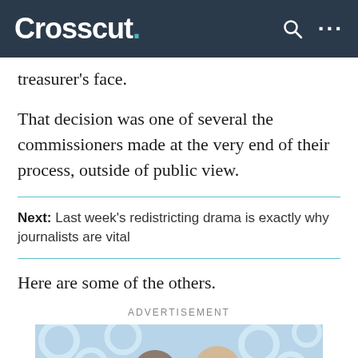Crosscut.
treasurer's face.
That decision was one of several the commissioners made at the very end of their process, outside of public view.
Next: Last week's redistricting drama is exactly why journalists are vital
Here are some of the others.
ADVERTISEMENT
[Figure (photo): Advertisement image showing two people with a decorative blue and white floral background]